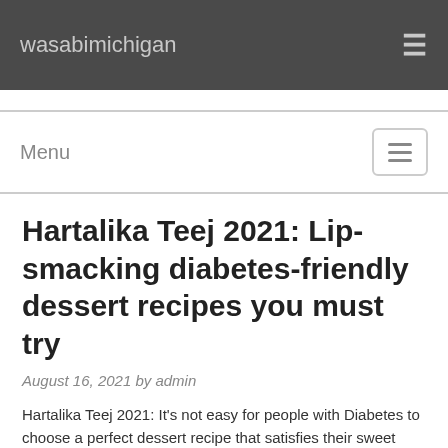wasabimichigan
Menu
Hartalika Teej 2021: Lip-smacking diabetes-friendly dessert recipes you must try
August 16, 2021 by admin
Hartalika Teej 2021: It's not easy for people with Diabetes to choose a perfect dessert recipe that satisfies their sweet cravings and can be rustled up in a healthy way. Festival time especially calls for family celebration and it cannot be complete without some sweet treats. But the good thing is that preparation of a diabetes-friendly recipe doesn't require an extra effort and if